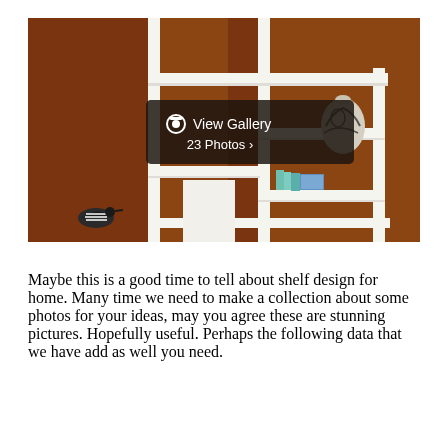[Figure (photo): Photo of a modern white geometric bookshelf/room divider with staggered shelves against a brown/rust background. A decorative bird figurine is visible on the lower left shelf, a vase with swirl pattern on the right, and some books/objects on the lower shelves. An overlay button reads 'View Gallery 23 Photos >'.]
Maybe this is a good time to tell about shelf design for home. Many time we need to make a collection about some photos for your ideas, may you agree these are stunning pictures. Hopefully useful. Perhaps the following data that we have add as well you need.